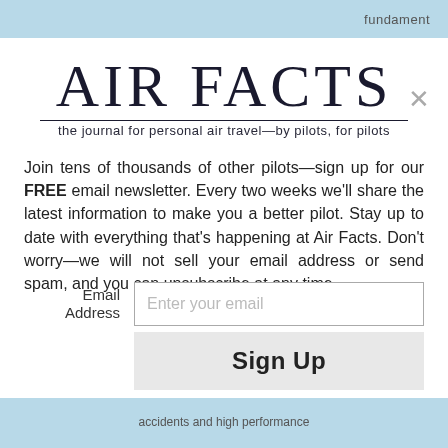fundament
AIR FACTS
the journal for personal air travel—by pilots, for pilots
Join tens of thousands of other pilots—sign up for our FREE email newsletter. Every two weeks we'll share the latest information to make you a better pilot. Stay up to date with everything that's happening at Air Facts. Don't worry—we will not sell your email address or send spam, and you can unsubscribe at any time.
Email Address  Enter your email  Sign Up
accidents and high performance